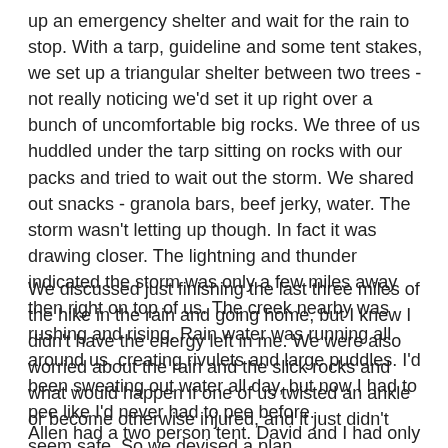up an emergency shelter and wait for the rain to stop. With a tarp, guideline and some tent stakes, we set up a triangular shelter between two trees - not really noticing we'd set it up right over a bunch of uncomfortable big rocks. We three of us huddled under the tarp sitting on rocks with our packs and tried to wait out the storm. We shared out snacks - granola bars, beef jerky, water. The storm wasn't letting up though. In fact it was drawing closer. The lightning and thunder indicated the storm was only a few miles away then right on top of us. The creek nearby was rushing and rising. Rain water was running all around us, creating rivulets and large puddles. I'd been sweating out water all day, but now I had to pee like I'd never had to pee before.
We discussed just finishing the last three miles of the hike in the rain and going home, but I knew I didn't have the energy left in me. We were also worried about the rain and the slick rocks and what would happen if one of us twisted an ankle or become otherwise injured, and it just didn't seem safe. So we devised a plan.
Allen had a two person tent. David and I had only